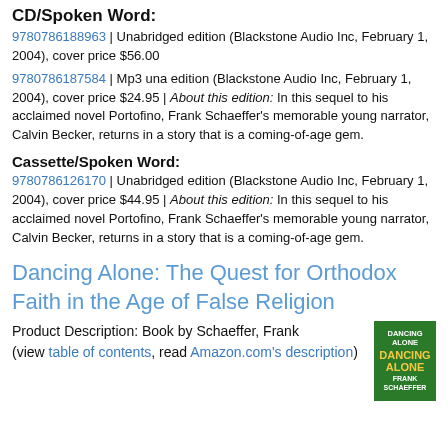CD/Spoken Word:
9780786188963 | Unabridged edition (Blackstone Audio Inc, February 1, 2004), cover price $56.00
9780786187584 | Mp3 una edition (Blackstone Audio Inc, February 1, 2004), cover price $24.95 | About this edition: In this sequel to his acclaimed novel Portofino, Frank Schaeffer's memorable young narrator, Calvin Becker, returns in a story that is a coming-of-age gem.
Cassette/Spoken Word:
9780786126170 | Unabridged edition (Blackstone Audio Inc, February 1, 2004), cover price $44.95 | About this edition: In this sequel to his acclaimed novel Portofino, Frank Schaeffer's memorable young narrator, Calvin Becker, returns in a story that is a coming-of-age gem.
Dancing Alone: The Quest for Orthodox Faith in the Age of False Religion
Product Description: Book by Schaeffer, Frank (view table of contents, read Amazon.com's description)
[Figure (photo): Book cover of 'Dancing Alone' by Frank Schaeffer, green background with yellow title text]